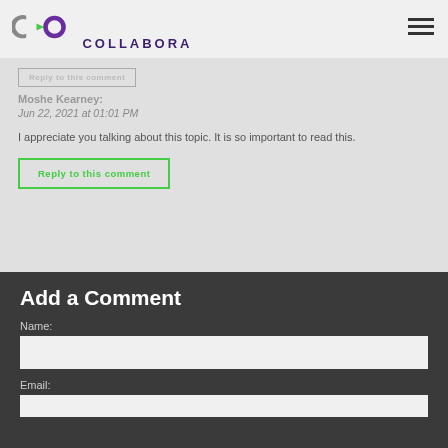[Figure (logo): Collabora logo with C>O graphic and COLLABORA text]
Reply to this comment
Moshe Kearney:
Jun 22, 2021 at 01:01 PM
I appreciate you talking about this topic. It is so important to read this.
Reply to this comment
Add a Comment
Name:
Email: